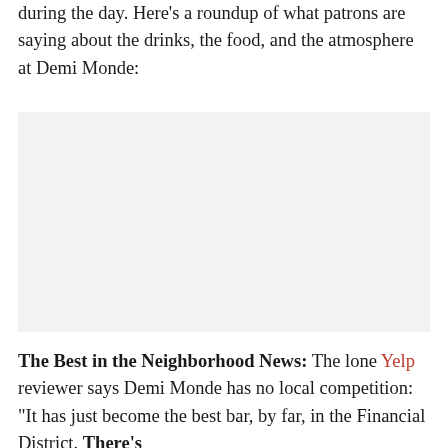during the day. Here's a roundup of what patrons are saying about the drinks, the food, and the atmosphere at Demi Monde:
[Figure (photo): A light gray rectangular image placeholder area]
The Best in the Neighborhood News: The lone Yelp reviewer says Demi Monde has no local competition: "It has just become the best bar, by far, in the Financial District. There's